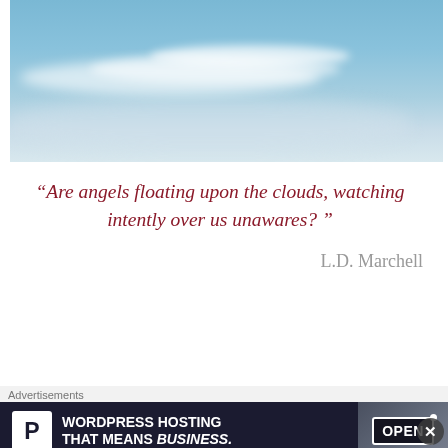[Figure (photo): Sky with wispy white clouds on a blue background - top image]
“Are angels floating upon the clouds, watching intently over us unawares? ”
L.D. Marchell
[Figure (photo): Sky with wispy white clouds on a blue background - bottom image]
Advertisements
[Figure (screenshot): WordPress Hosting advertisement banner: P logo, text 'WORDPRESS HOSTING THAT MEANS BUSINESS.' with an Open sign image on the right]